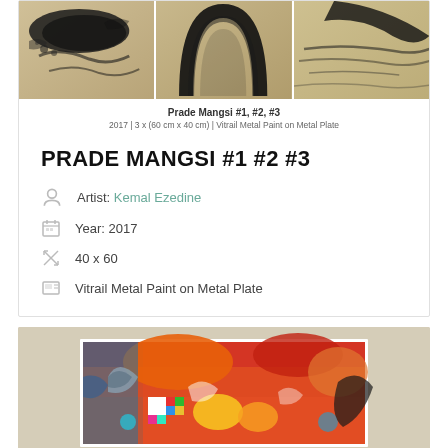[Figure (photo): Triptych artwork: three panels showing abstract ink paintings with dark black brushstrokes on warm beige/golden backgrounds. Works titled Prade Mangsi #1, #2, #3.]
Prade Mangsi #1, #2, #3
2017 | 3 x (60 cm x 40 cm) | Vitrail Metal Paint on Metal Plate
PRADE MANGSI #1 #2 #3
Artist: Kemal Ezedine
Year: 2017
40 x 60
Vitrail Metal Paint on Metal Plate
[Figure (photo): Colorful large-format painting displayed in a gallery setting with warm beige walls. The painting features vibrant reds, oranges, blues, yellows and multi-colored abstract/graffiti-style imagery with many figures and patterns.]